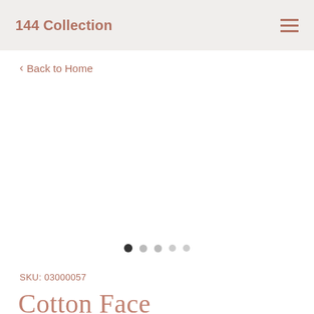144 Collection
< Back to Home
[Figure (other): Product image carousel area (blank/white, no image loaded)]
SKU: 03000057
Cotton Face